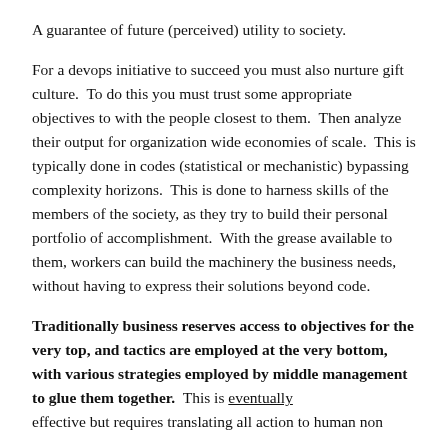A guarantee of future (perceived) utility to society.
For a devops initiative to succeed you must also nurture gift culture.  To do this you must trust some appropriate objectives to with the people closest to them.  Then analyze their output for organization wide economies of scale.  This is typically done in codes (statistical or mechanistic) bypassing complexity horizons.  This is done to harness skills of the members of the society, as they try to build their personal portfolio of accomplishment.  With the grease available to them, workers can build the machinery the business needs, without having to express their solutions beyond code.
Traditionally business reserves access to objectives for the very top, and tactics are employed at the very bottom, with various strategies employed by middle management to glue them together.  This is eventually effective but requires translating all action to human non